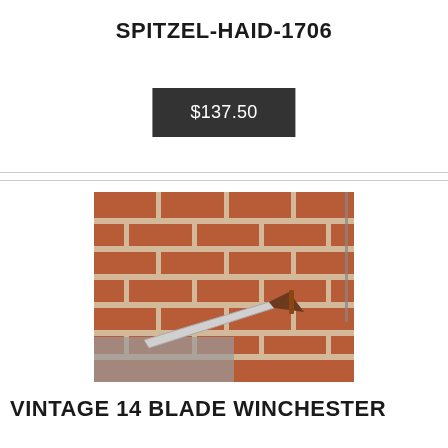SPITZEL-HAID-1706
$137.50
[Figure (photo): A vintage knife with a silver blade and wooden handle, photographed lying on a grey cloth against a red brick wall background.]
VINTAGE 14 BLADE WINCHESTER